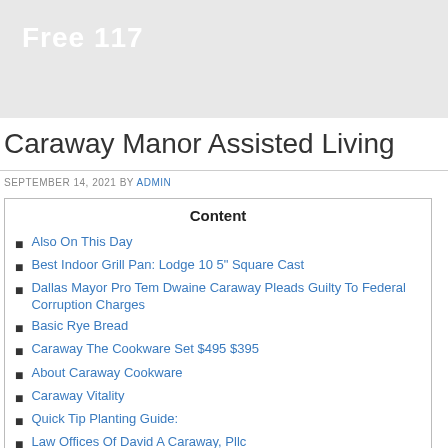Free 117
Caraway Manor Assisted Living
SEPTEMBER 14, 2021 BY ADMIN
Content
Also On This Day
Best Indoor Grill Pan: Lodge 10 5" Square Cast
Dallas Mayor Pro Tem Dwaine Caraway Pleads Guilty To Federal Corruption Charges
Basic Rye Bread
Caraway The Cookware Set $495 $395
About Caraway Cookware
Caraway Vitality
Quick Tip Planting Guide:
Law Offices Of David A Caraway, Pllc
What Is The Difference Between Caraway Seeds And Fennel